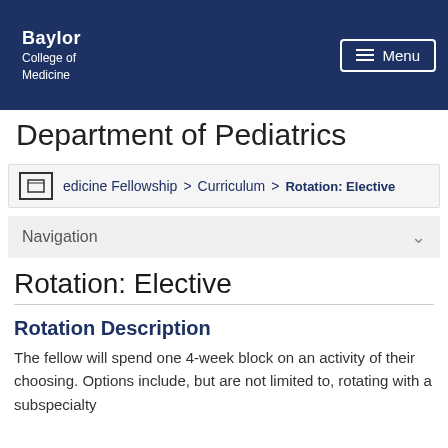Baylor College of Medicine — Department of Pediatrics
Department of Pediatrics
edicine Fellowship > Curriculum > Rotation: Elective
Navigation
Rotation: Elective
Rotation Description
The fellow will spend one 4-week block on an activity of their choosing. Options include, but are not limited to, rotating with a subspecialty